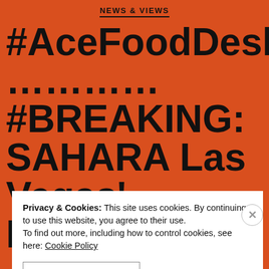NEWS & VIEWS
#AceFoodDesk ........... #BREAKING: SAHARA Las Vegas' Northside Café & Chinese Kitchen
Privacy & Cookies: This site uses cookies. By continuing to use this website, you agree to their use. To find out more, including how to control cookies, see here: Cookie Policy
CLOSE AND ACCEPT